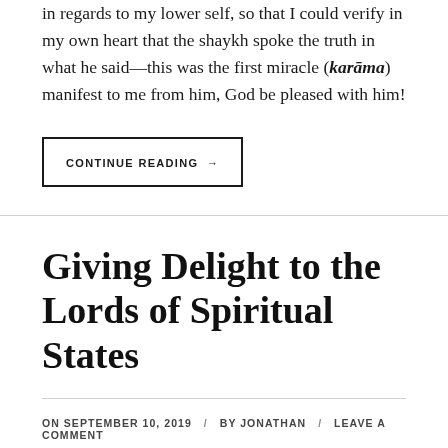in regards to my lower self, so that I could verify in my own heart that the shaykh spoke the truth in what he said—this was the first miracle (karāma) manifest to me from him, God be pleased with him!
CONTINUE READING →
Giving Delight to the Lords of Spiritual States
ON SEPTEMBER 10, 2019 / BY JONATHAN / LEAVE A COMMENT